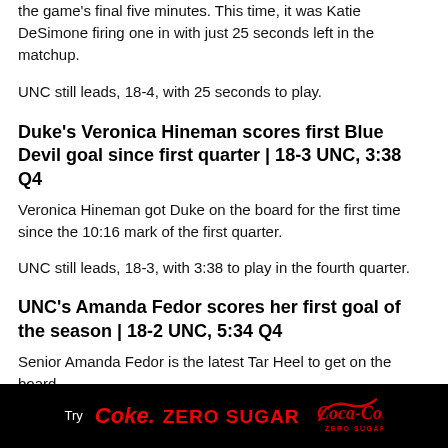the game's final five minutes. This time, it was Katie DeSimone firing one in with just 25 seconds left in the matchup.
UNC still leads, 18-4, with 25 seconds to play.
Duke's Veronica Hineman scores first Blue Devil goal since first quarter | 18-3 UNC, 3:38 Q4
Veronica Hineman got Duke on the board for the first time since the 10:16 mark of the first quarter.
UNC still leads, 18-3, with 3:38 to play in the fourth quarter.
UNC's Amanda Fedor scores her first goal of the season | 18-2 UNC, 5:34 Q4
Senior Amanda Fedor is the latest Tar Heel to get on the board
[Figure (advertisement): Coca-Cola Zero Sugar advertisement banner with black background, red Coke logo, 'Try' in white, 'ZERO SUGAR' in red, and Coca-Cola Zero Sugar script logo on right]